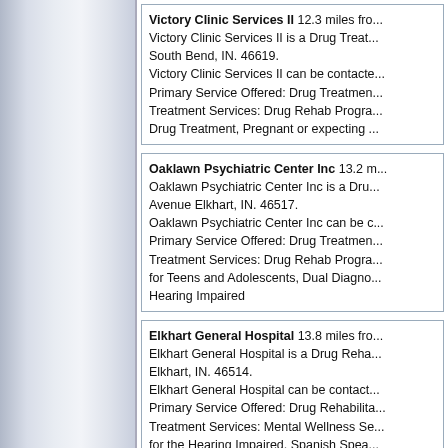Victory Clinic Services II 12.3 miles from... Victory Clinic Services II is a Drug Treatment... South Bend, IN. 46619. Victory Clinic Services II can be contacted... Primary Service Offered: Drug Treatment... Treatment Services: Drug Rehab Program... Drug Treatment, Pregnant or expecting...
Oaklawn Psychiatric Center Inc 13.2 miles... Oaklawn Psychiatric Center Inc is a Drug... Avenue Elkhart, IN. 46517. Oaklawn Psychiatric Center Inc can be contacted... Primary Service Offered: Drug Treatment... Treatment Services: Drug Rehab Program... for Teens and Adolescents, Dual Diagnosis... Hearing Impaired
Elkhart General Hospital 13.8 miles from... Elkhart General Hospital is a Drug Rehab... Elkhart, IN. 46514. Elkhart General Hospital can be contacted... Primary Service Offered: Drug Rehabilitation... Treatment Services: Mental Wellness Services... for the Hearing Impaired, Spanish Speaking...
Otis R Bowen Center 13.9 miles from V... Otis R Bowen Center is a Drug Treatment... IN. 46563. Otis R Bowen Center can be contacted...